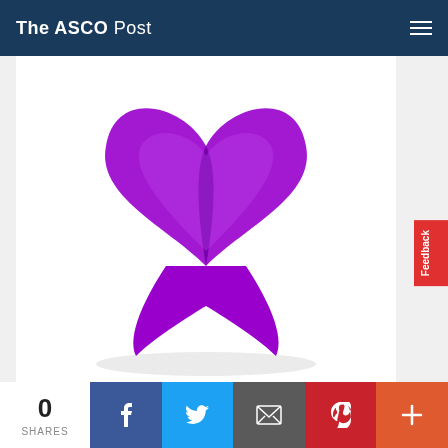The ASCO Post
[Figure (illustration): Purple cancer awareness ribbon (Pancreatic Cancer / General Cancer awareness) on white background with soft shadow, viewed from front. Two ribbon loops cross in an X pattern with two tails hanging down.]
Gastrointestinal Cancer Research From ESMO 2019
0 SHARES
f  (Facebook share button)
t  (Twitter share button)
(Email share button)
p  (Pinterest share button)
+  (More share options)